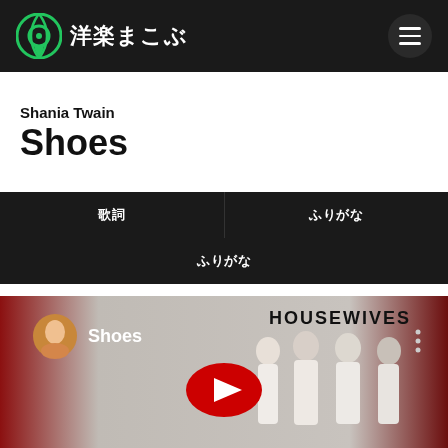洋楽まこぶ
Shania Twain
Shoes
| 歌詞 | ふりがな |
| --- | --- |
| ふりがな |  |
[Figure (screenshot): YouTube video thumbnail showing Shoes by Shania Twain with Desperate Housewives imagery]